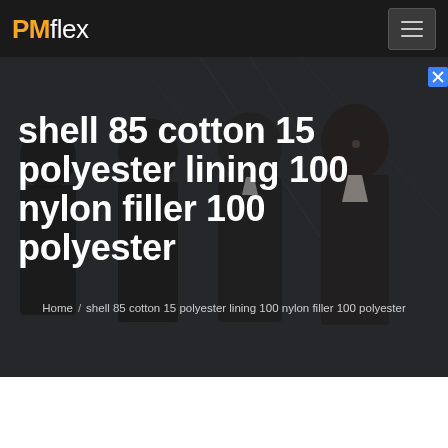PMflex
[Figure (photo): Dark background photo of four women in business attire standing together, slightly blurred]
shell 85 cotton 15 polyester lining 100 nylon filler 100 polyester
Home / shell 85 cotton 15 polyester lining 100 nylon filler 100 polyester